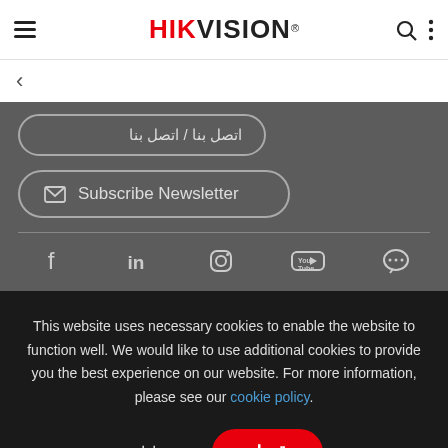HIKVISION
< (back navigation)
اتصل بنا / اتصل بنا (contact button)
Subscribe Newsletter
[Figure (other): Social media icons row: Facebook, LinkedIn, Instagram, YouTube, Chat]
This website uses necessary cookies to enable the website to function well. We would like to use additional cookies to provide you the best experience on our website. For more information, please see our cookie policy.
إدارة
قبول